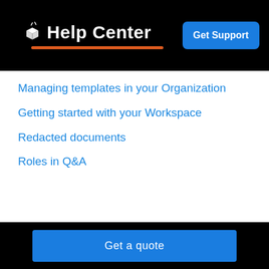Help Center
Managing templates in your Organization
Getting started with your Workspace
Redacted documents
Roles in Q&A
Get a quote